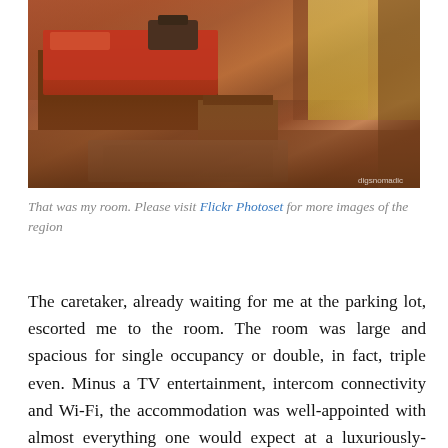[Figure (photo): Interior of a wooden room with an orange/red bedspread on a low platform bed, wooden furniture, a rug on the floor, and large windows with yellow curtains. Watermark reads 'digsnomadic'.]
That was my room. Please visit Flickr Photoset for more images of the region
The caretaker, already waiting for me at the parking lot, escorted me to the room. The room was large and spacious for single occupancy or double, in fact, triple even. Minus a TV entertainment, intercom connectivity and Wi-Fi, the accommodation was well-appointed with almost everything one would expect at a luxuriously-billed property. I made myself a cup of tea. Polished in the typical yellow hue, much of the furniture and doorways was made out of deodar wood. The resin smell of the